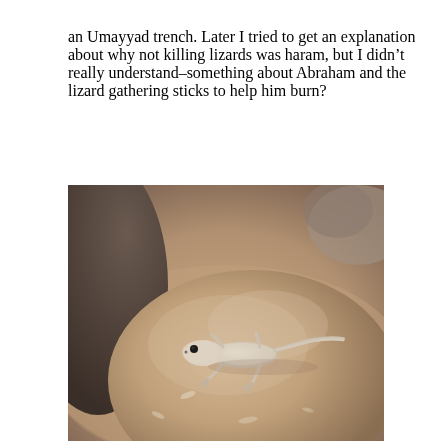an Umayyad trench. Later I tried to get an explanation about why not killing lizards was haram, but I didn't really understand–something about Abraham and the lizard gathering sticks to help him burn?
[Figure (photo): Close-up photograph of a small pale lizard (gecko) resting on a rounded sandy-brown rock surface, with rocks visible in the background. The lizard is light beige/white in color with a long tail, positioned in the center of the image.]